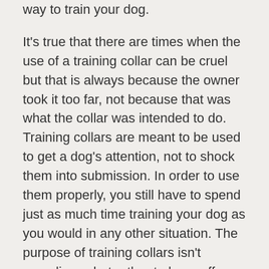way to train your dog.
It's true that there are times when the use of a training collar can be cruel but that is always because the owner took it too far, not because that was what the collar was intended to do. Training collars are meant to be used to get a dog's attention, not to shock them into submission. In order to use them properly, you still have to spend just as much time training your dog as you would in any other situation. The purpose of training collars isn't expediency but rather to have off leash control of your dog when appropriate. When implemented into your dog's training routine properly, training collars can actually be much more useful than and just as humane as harnesses.
Using a training collar correctly takes a lot of patience